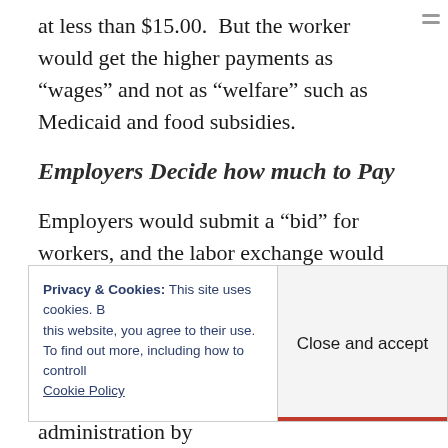at less than $15.00. But the worker would get the higher payments as “wages” and not as “welfare” such as Medicaid and food subsidies.
Employers Decide how much to Pay
Employers would submit a “bid” for workers, and the labor exchange would choose which ones to send for an interview, based on whatever they do “to train” workers about job-finding skills, and assessing their level of skill.
Privacy & Cookies: This site uses cookies. By continuing to use this website, you agree to their use. To find out more, including how to control cookies, see here: Cookie Policy
Close and accept
would require less bureaucratic administration by